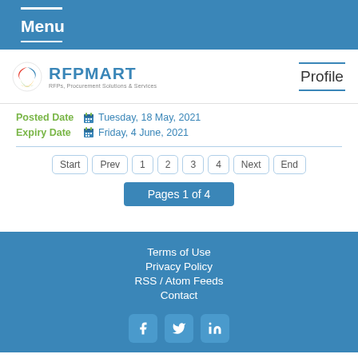Menu
[Figure (logo): RFPMART logo with tagline: RFPs, Procurement Solutions & Services]
Profile
Posted Date  Tuesday, 18 May, 2021
Expiry Date  Friday, 4 June, 2021
Start  Prev  1  2  3  4  Next  End — Pages 1 of 4
Terms of Use
Privacy Policy
RSS / Atom Feeds
Contact